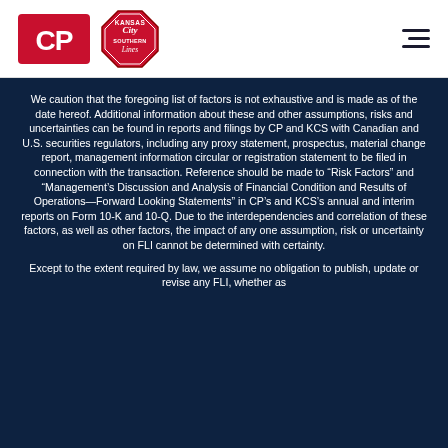[Figure (logo): CP (Canadian Pacific) logo in red with white CP letters on dark red background, and Kansas City Southern Lines logo — red octagon with white script lettering]
We caution that the foregoing list of factors is not exhaustive and is made as of the date hereof. Additional information about these and other assumptions, risks and uncertainties can be found in reports and filings by CP and KCS with Canadian and U.S. securities regulators, including any proxy statement, prospectus, material change report, management information circular or registration statement to be filed in connection with the transaction. Reference should be made to “Risk Factors” and “Management’s Discussion and Analysis of Financial Condition and Results of Operations—Forward Looking Statements” in CP’s and KCS’s annual and interim reports on Form 10-K and 10-Q. Due to the interdependencies and correlation of these factors, as well as other factors, the impact of any one assumption, risk or uncertainty on FLI cannot be determined with certainty.
Except to the extent required by law, we assume no obligation to publish, update or revise any FLI, whether as